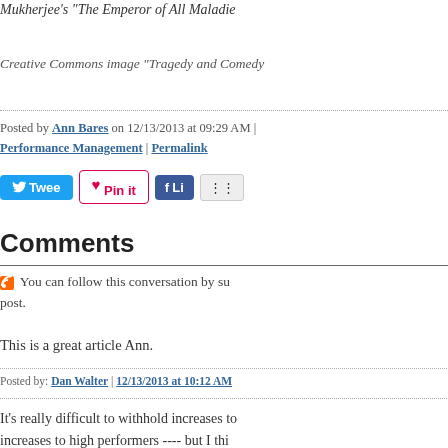Mukherjee's "The Emperor of All Maladie...
Creative Commons image "Tragedy and Comedy...
Posted by Ann Bares on 12/13/2013 at 09:29 AM | Performance Management | Permalink
[Figure (screenshot): Social share buttons: Tweet, Pin it, Like, Share]
Comments
You can follow this conversation by su... post.
This is a great article Ann.
Posted by: Dan Walter | 12/13/2013 at 10:12 AM
It's really difficult to withhold increases to... increases to high performers ---- but I thi...
A step beyond ----To survive I believe co... and more in favor of employees who hav... performers.